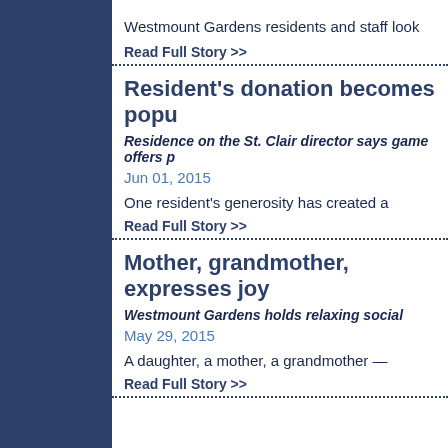Westmount Gardens residents and staff look
Read Full Story >>
Resident's donation becomes popu
Residence on the St. Clair director says game offers p
Jun 01, 2015
One resident's generosity has created a
Read Full Story >>
Mother, grandmother, expresses joy
Westmount Gardens holds relaxing social
May 29, 2015
A daughter, a mother, a grandmother —
Read Full Story >>